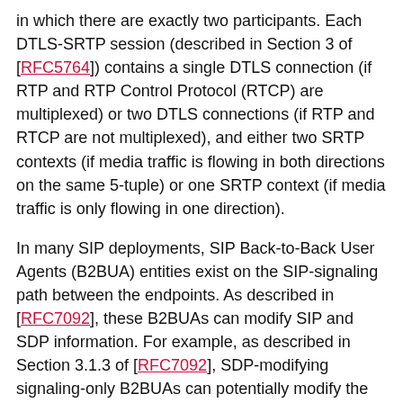in which there are exactly two participants. Each DTLS-SRTP session (described in Section 3 of [RFC5764]) contains a single DTLS connection (if RTP and RTP Control Protocol (RTCP) are multiplexed) or two DTLS connections (if RTP and RTCP are not multiplexed), and either two SRTP contexts (if media traffic is flowing in both directions on the same 5-tuple) or one SRTP context (if media traffic is only flowing in one direction).
In many SIP deployments, SIP Back-to-Back User Agents (B2BUA) entities exist on the SIP-signaling path between the endpoints. As described in [RFC7092], these B2BUAs can modify SIP and SDP information. For example, as described in Section 3.1.3 of [RFC7092], SDP-modifying signaling-only B2BUAs can potentially modify the SDP. B2BUAs can also be present on the media path, in which case they modify parts of the SDP information (like IP address, port) and subsequently modify the RTP headers as well. Such B2BUAs are referred to as "media-plane B2BUAs". [RFC7092] describes two different categories of media-